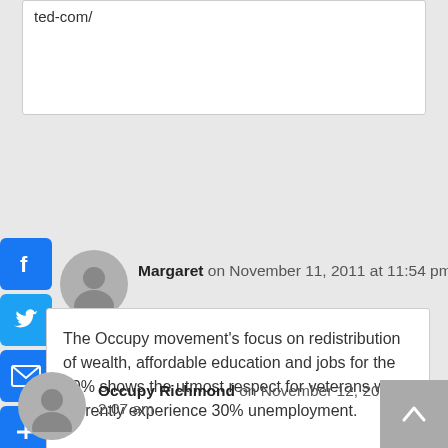ted-com/
Margaret on November 11, 2011 at 11:54 pm
The Occupy movement’s focus on redistribution of wealth, affordable education and jobs for the 99% shows the utmost respect for veterans who currently experience 30% unemployment.
Occupy Richmond on November 12, 2011 at 2:07 am